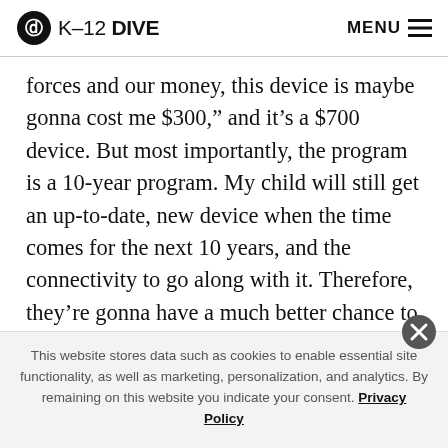K-12 DIVE  MENU
forces and our money, this device is maybe gonna cost me $300,” and it’s a $700 device. But most importantly, the program is a 10-year program. My child will still get an up-to-date, new device when the time comes for the next 10 years, and the connectivity to go along with it. Therefore, they’re gonna have a much better chance to compete if the education system is based around truly preparing them to go to college, go into a career and be a good citizen
This website stores data such as cookies to enable essential site functionality, as well as marketing, personalization, and analytics. By remaining on this website you indicate your consent. Privacy Policy